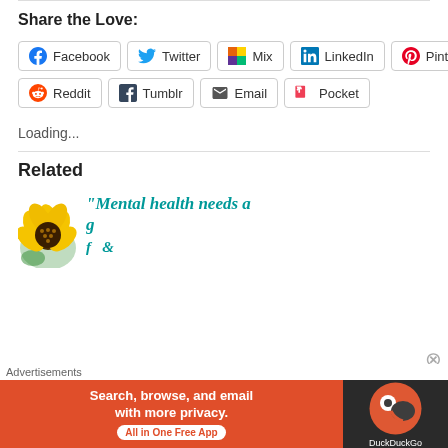Share the Love:
[Figure (screenshot): Social sharing buttons: Facebook, Twitter, Mix, LinkedIn, Pinterest, Reddit, Tumblr, Email, Pocket]
Loading...
Related
[Figure (screenshot): Related article card with sunflower image and teal italic text: "Mental health needs a g... (truncated)"]
[Figure (screenshot): Advertisement banner: DuckDuckGo ad - Search, browse, and email with more privacy. All in One Free App]